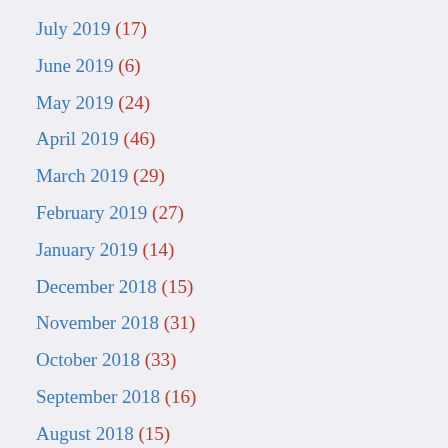July 2019 (17)
June 2019 (6)
May 2019 (24)
April 2019 (46)
March 2019 (29)
February 2019 (27)
January 2019 (14)
December 2018 (15)
November 2018 (31)
October 2018 (33)
September 2018 (16)
August 2018 (15)